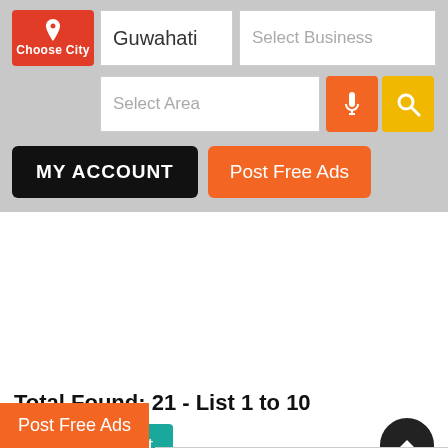[Figure (screenshot): Choose City button with red background and location pin icon]
Guwahati
Select Business
Select Area
[Figure (other): Microphone icon button (orange)]
[Figure (other): Search/magnifying glass icon button (yellow)]
MY ACCOUNT
Post Free Ads
Total Found: 21 - List 1 to 10
1
2
Next
[Figure (other): Scroll to top arrow button (dark circle)]
Post Free Ads